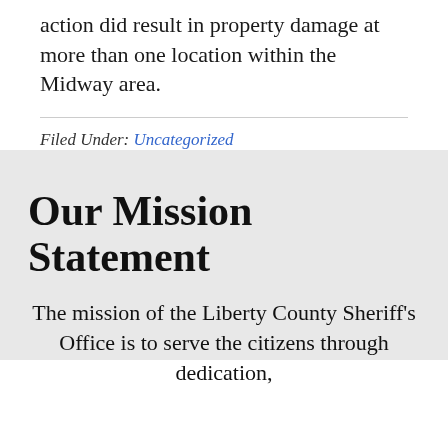action did result in property damage at more than one location within the Midway area.
Filed Under: Uncategorized
Our Mission Statement
The mission of the Liberty County Sheriff's Office is to serve the citizens through dedication,